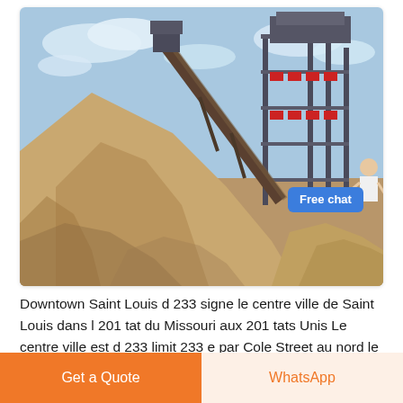[Figure (photo): Industrial sand/gravel processing facility with large conveyor belt machinery and a tall steel-framed structure. Large piles of sand/gravel in the foreground under a partly cloudy blue sky.]
Downtown Saint Louis d 233 signe le centre ville de Saint Louis dans l 201 tat du Missouri aux 201 tats Unis Le centre ville est d 233 limit 233 e par Cole Street au nord le fleuve